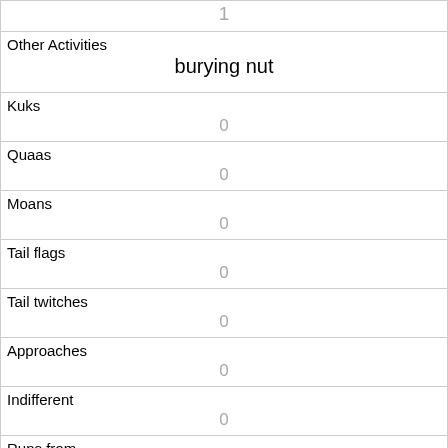| 1 |
| Other Activities
burying nut |
| Kuks
0 |
| Quaas
0 |
| Moans
0 |
| Tail flags
0 |
| Tail twitches
0 |
| Approaches
0 |
| Indifferent
0 |
| Runs from
0 |
| Other Interactions |